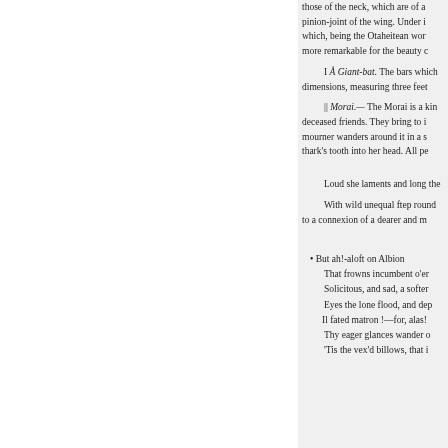those of the neck, which are of a pinion-joint of the wing. Under i which, being the Otaheitean wor more remarkable for the beauty c
I Å Giant-bat. The bars which dimensions, measuring three feet
|| Morai.— The Morai is a kin deceased friends. They bring to i mourner wanders around it in a s thark's tooth into her head. All pe
Loud she laments and long the
With wild unequal ftep round to a connexion of a dearer and m
• But ah!-aloft on Albion
That frowns incumbent o'er
Solicitous, and sad, a softer
Eyes the lone flood, and dep
Il fated matron !—for, alas!
Thy eager glances wander o
'Tis the vex'd billows, that i